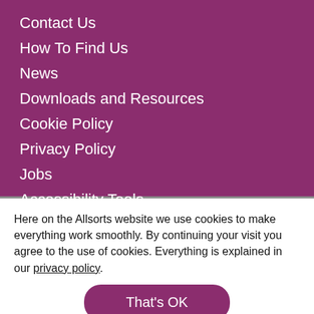Contact Us
How To Find Us
News
Downloads and Resources
Cookie Policy
Privacy Policy
Jobs
Accessibility Tools
Here on the Allsorts website we use cookies to make everything work smoothly. By continuing your visit you agree to the use of cookies. Everything is explained in our privacy policy.
That's OK